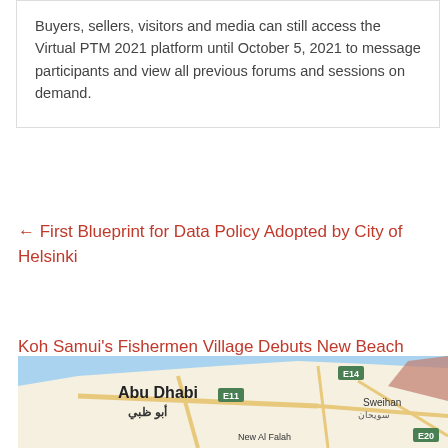Buyers, sellers, visitors and media can still access the Virtual PTM 2021 platform until October 5, 2021 to message participants and view all previous forums and sessions on demand.
← First Blueprint for Data Policy Adopted by City of Helsinki
Koh Samui's Fishermen Village Debuts New Beach Bar →
[Figure (map): Google Maps showing Abu Dhabi area with roads E11, E14, E20, Sweihan label, and New Al Falah label. Blue water/background with road network in tan/yellow.]